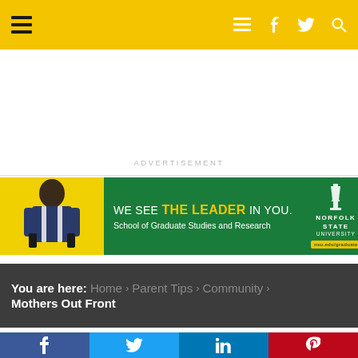Navigation bar with hamburger menu, list icon, Facebook, Twitter, and Search icons on gold/yellow background
ADVERTISEMENT
[Figure (illustration): Norfolk State University advertisement banner: 'WE SEE THE LEADER IN YOU. School of Graduate Studies and Research' on green background with a person in a suit on yellow background on the left, and Norfolk State University logo and nsu.edu/graduate URL on the right.]
You are here: Home › Parent Tips › Community › Mothers Out Front
[Figure (infographic): Social sharing buttons row: Facebook (dark blue), Twitter (light blue), LinkedIn (medium blue), Pinterest (red)]